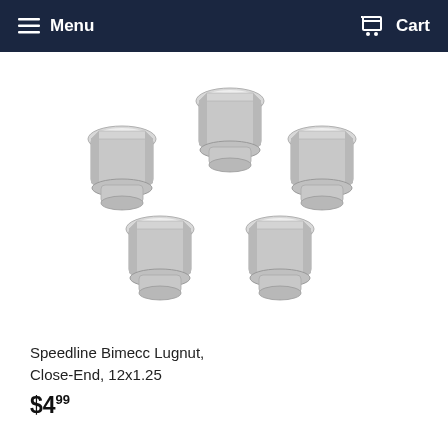Menu  Cart
[Figure (photo): Five chrome close-end lug nuts arranged in a scattered group on a white background]
Speedline Bimecc Lugnut, Close-End, 12x1.25
$4.99